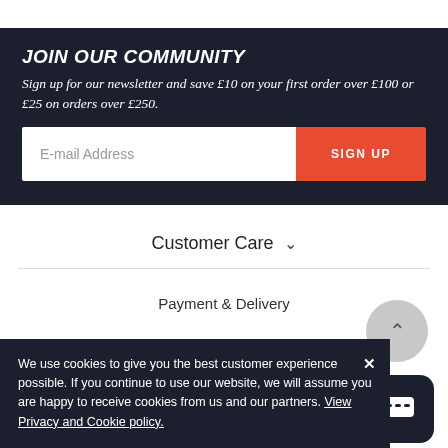JOIN OUR COMMUNITY
Sign up for our newsletter and save £10 on your first order over £100 or £25 on orders over £250.
E-mail Address
SIGN UP
Customer Care
Payment & Delivery
We use cookies to give you the best customer experience possible. If you continue to use our website, we will assume you are happy to receive cookies from us and our partners. View Privacy and Cookie policy.